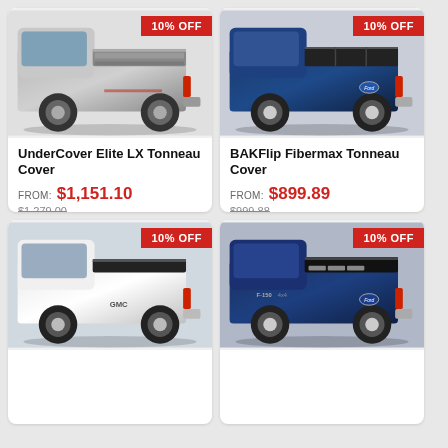[Figure (photo): Silver Chevrolet pickup truck with tonneau cover, rear three-quarter view, with 10% OFF badge]
UnderCover Elite LX Tonneau Cover
FROM: $1,151.10
$1,279.00 (strikethrough)
4.5 stars, 97 reviews
[Figure (photo): Blue Ford pickup truck with hard folding tonneau cover, rear three-quarter view, with 10% OFF badge]
BAKFlip Fibermax Tonneau Cover
FROM: $899.89
$999.88 (strikethrough)
4.5 stars, 97 reviews
QUICKSHIP
[Figure (photo): White GMC pickup truck with soft roll-up tonneau cover, rear three-quarter view, with 10% OFF badge]
[Figure (photo): Dark blue Ford F-150 pickup truck with retractable tonneau cover, rear three-quarter view, with 10% OFF badge]